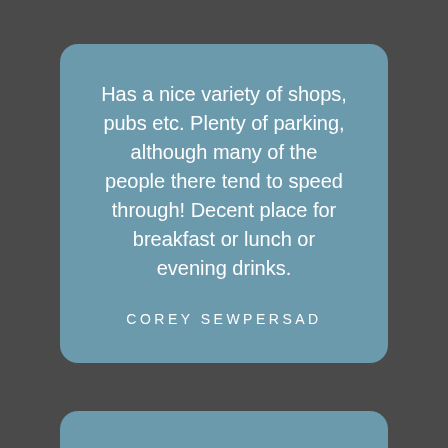Has a nice variety of shops, pubs etc. Plenty of parking, although many of the people there tend to speed through! Decent place for breakfast or lunch or evening drinks.
COREY SEWPERSAD
Early like some of us, but essential. Renewed my car license, got my Korean noodles, all before 7am. My favorite place